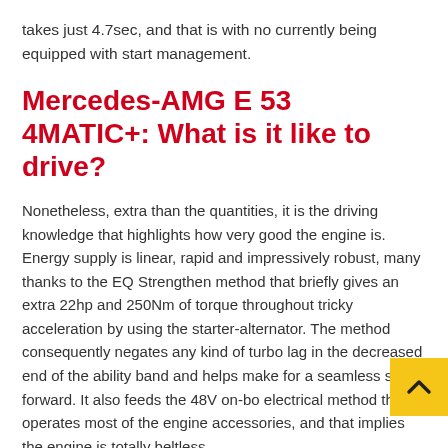takes just 4.7sec, and that is with no currently being equipped with start management.
Mercedes-AMG E 53 4MATIC+: What is it like to drive?
Nonetheless, extra than the quantities, it is the driving knowledge that highlights how very good the engine is. Energy supply is linear, rapid and impressively robust, many thanks to the EQ Strengthen method that briefly gives an extra 22hp and 250Nm of torque throughout tricky acceleration by using the starter-alternator. The method consequently negates any kind of turbo lag in the decreased end of the ability band and helps make for a seamless surge forward. It also feeds the 48V on-bo electrical method that operates most of the engine accessories, and that implies the engine is totally beltless.